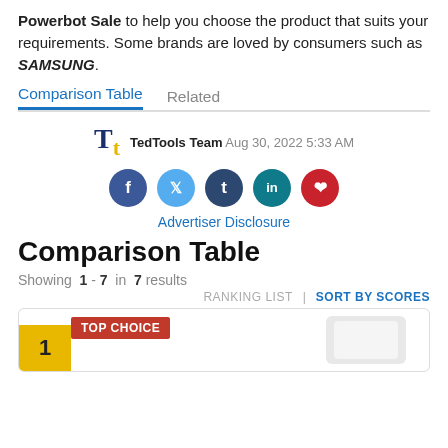Powerbot Sale to help you choose the product that suits your requirements. Some brands are loved by consumers such as SAMSUNG.
Comparison Table | Related
TedTools Team  Aug 30, 2022 5:33 AM
[Figure (other): Social sharing buttons: Facebook, Twitter, Tumblr, LinkedIn, Pinterest]
Advertiser Disclosure
Comparison Table
Showing 1 - 7 in 7 results
RANKING LIST | SORT BY SCORES
1  TOP CHOICE